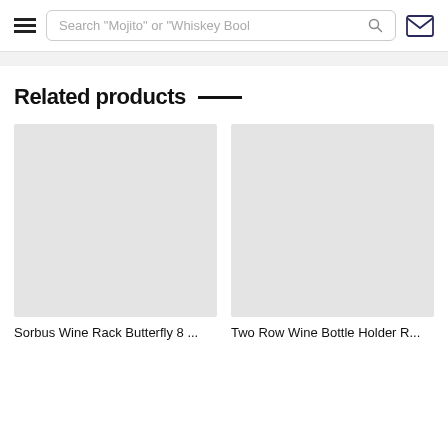Search "Mojito" or "Whiskey Bool"
Related products
[Figure (other): Product image placeholder for Sorbus Wine Rack Butterfly 8 ...]
Sorbus Wine Rack Butterfly 8 ...
[Figure (other): Product image placeholder for Two Row Wine Bottle Holder R...]
Two Row Wine Bottle Holder R...